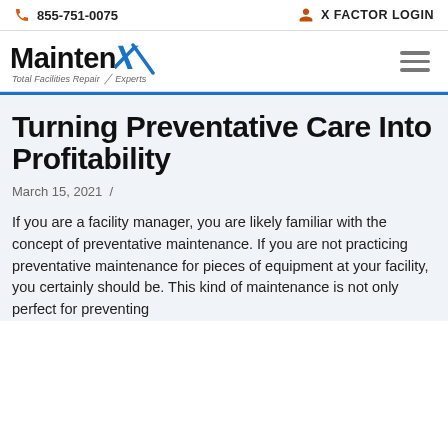855-751-0075   X FACTOR LOGIN
[Figure (logo): MaintenX logo with blue X checkmark and tagline 'Total Facilities Repair Experts']
Turning Preventative Care Into Profitability
March 15, 2021 /
If you are a facility manager, you are likely familiar with the concept of preventative maintenance. If you are not practicing preventative maintenance for pieces of equipment at your facility, you certainly should be. This kind of maintenance is not only perfect for preventing...